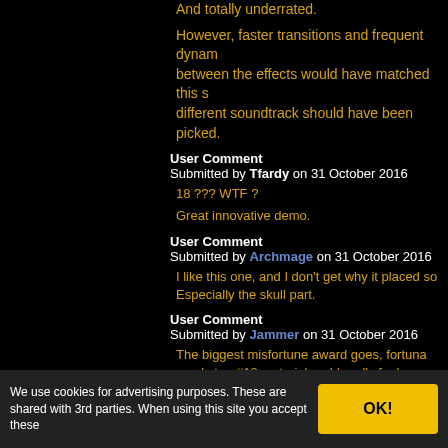And totally underrated.
However, faster transitions and frequent dynamic changes between the effects would have matched this style. A different soundtrack should have been picked.
User Comment
Submitted by Tfardy on 31 October 2016
18 ??? WTF ?
Great innovative demo.
User Comment
Submitted by Archmage on 31 October 2016
I like this one, and I don't get why it placed so low. Especially the skull part.
User Comment
Submitted by Jammer on 31 October 2016
The biggest misfortune award goes, unfortuna... surely top #10 material and I really feel sory he... prod!
User Comment
Submitted by Asthor on 31 October 2016
Very interesting demo. Impressive!
We use cookies for advertising purposes. These are shared with 3rd parties. When using this site you accept these